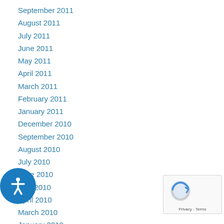September 2011
August 2011
July 2011
June 2011
May 2011
April 2011
March 2011
February 2011
January 2011
December 2010
September 2010
August 2010
July 2010
June 2010
May 2010
April 2010
March 2010
January 2010